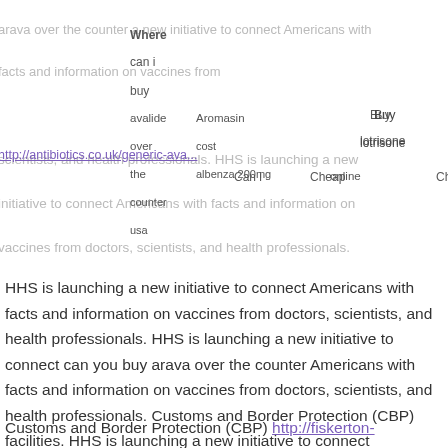arava over the counter a new initiative to connect Americans with facts and information on vaccines from http://antibiotics.co.uk/generic-ava... Can i buy Cheap- Cheap- lotrisone avalide Aromasin scientists, and health professionals. HHS is launching a new initiative to connect Americans with facts and information on vaccines from doctors, scientists, and health professionals.
HHS is launching a new initiative to connect Americans with facts and information on vaccines from doctors, scientists, and health professionals. HHS is launching a new initiative to connect can you buy arava over the counter Americans with facts and information on vaccines from doctors, scientists, and health professionals. Customs and Border Protection (CBP) facilities. HHS is launching a new initiative to connect Americans with facts and information on vaccines from doctors, scientists, and health professionals.
Customs and Border Protection (CBP) http://fiskerton-